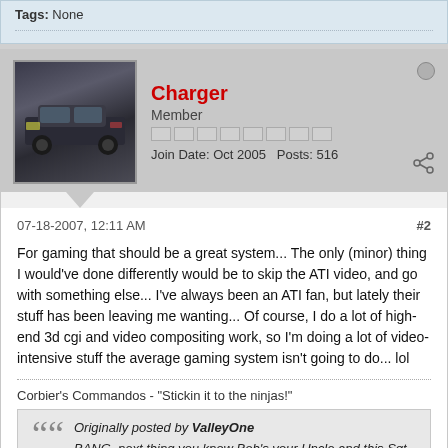Tags: None
Charger
Member
Join Date: Oct 2005  Posts: 516
07-18-2007, 12:11 AM  #2
For gaming that should be a great system... The only (minor) thing I would've done differently would be to skip the ATI video, and go with something else... I've always been an ATI fan, but lately their stuff has been leaving me wanting... Of course, I do a lot of high-end 3d cgi and video compositing work, so I'm doing a lot of video-intensive stuff the average gaming system isn't going to do... lol
Corbier's Commandos - "Stickin it to the ninjas!"
Originally posted by ValleyOne
BANG, next thing you know Bob's your Uncle and this Sgt is seemingly out on his a$$.
Shouda called in sick.
Be safe!